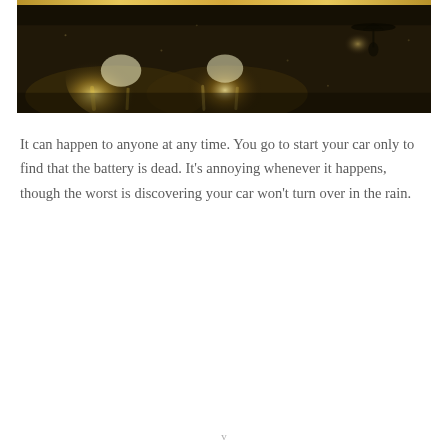[Figure (photo): Sepia-toned photograph of a rain-soaked road at night, with headlight reflections glowing on the wet pavement. A silhouetted figure with an umbrella is visible in the upper right. The image has a golden-yellow top banner strip.]
It can happen to anyone at any time. You go to start your car only to find that the battery is dead. It's annoying whenever it happens, though the worst is discovering your car won't turn over in the rain.
v